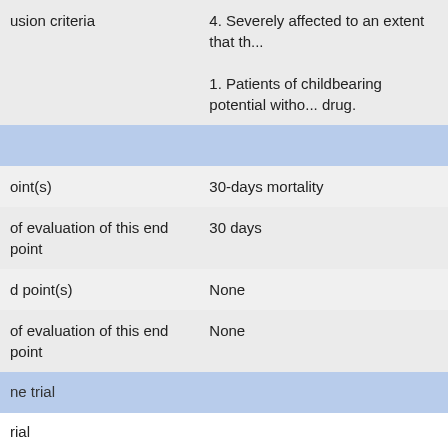|  |  |
| --- | --- |
| usion criteria | 4. Severely affected to an extent that th...

1. Patients of childbearing potential witho... drug. |
|  |  |
| oint(s) | 30-days mortality |
| of evaluation of this end point | 30 days |
| d point(s) | None |
| of evaluation of this end point | None |
| ne trial |  |
| rial |  |
|  | No
No
Yes
Yes |